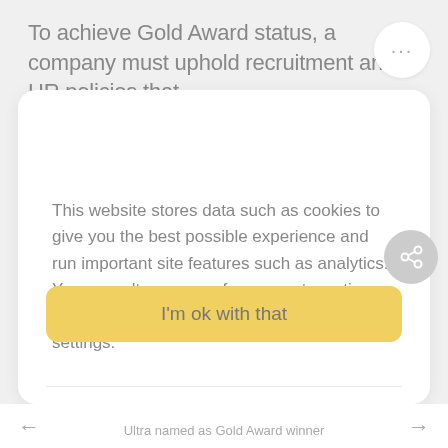To achieve Gold Award status, a company must uphold recruitment and HR policies that
This website stores data such as cookies to give you the best possible experience and run important site features such as analytics. You may alter your preferences at any time via our Cookie policy or accept the default settings.
Analytics cookies
Marketing cookies
I'm ok with that
Ultra named as Gold Award winner